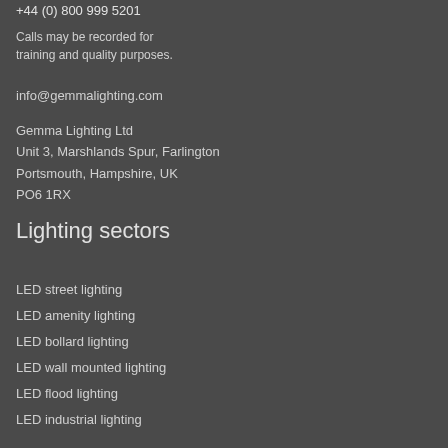+44 (0) 800 999 5201
Calls may be recorded for training and quality purposes.
info@gemmalighting.com
Gemma Lighting Ltd
Unit 3, Marshlands Spur, Farlington
Portsmouth, Hampshire, UK
PO6 1RX
Lighting sectors
LED street lighting
LED amenity lighting
LED bollard lighting
LED wall mounted lighting
LED flood lighting
LED industrial lighting